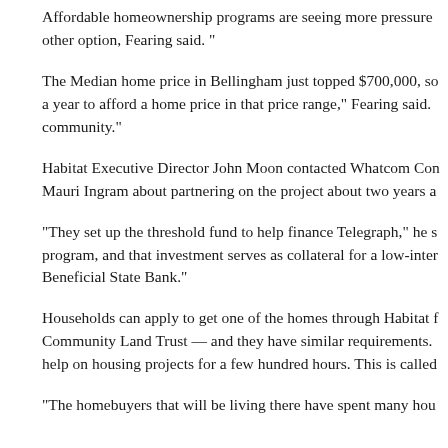Affordable homeownership programs are seeing more pressure other option, Fearing said. "
The Median home price in Bellingham just topped $700,000, so a year to afford a home price in that price range," Fearing said. community."
Habitat Executive Director John Moon contacted Whatcom Con Mauri Ingram about partnering on the project about two years a
"They set up the threshold fund to help finance Telegraph," he s program, and that investment serves as collateral for a low-inter Beneficial State Bank."
Households can apply to get one of the homes through Habitat f Community Land Trust — and they have similar requirements. help on housing projects for a few hundred hours. This is called
"The homebuyers that will be living there have spent many hou